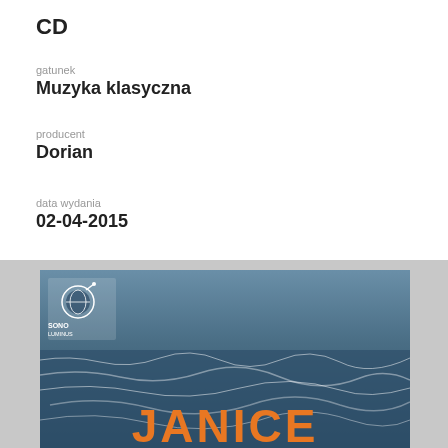CD
gatunek
Muzyka klasyczna
producent
Dorian
data wydania
02-04-2015
EAN / kod kreskowy
53479218827
[Figure (photo): Album cover for JANICE showing stormy ocean waves with the Sono Luminus label logo in the top left corner and the text JANICE in large orange letters at the bottom right.]